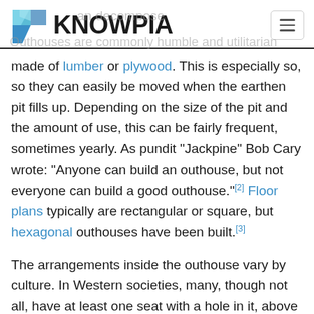KNOWPIA
made of lumber or plywood. This is especially so, so they can easily be moved when the earthen pit fills up. Depending on the size of the pit and the amount of use, this can be fairly frequent, sometimes yearly. As pundit "Jackpine" Bob Cary wrote: "Anyone can build an outhouse, but not everyone can build a good outhouse."[2] Floor plans typically are rectangular or square, but hexagonal outhouses have been built.[3]
The arrangements inside the outhouse vary by culture. In Western societies, many, though not all, have at least one seat with a hole in it, above a small pit. Others, often in more rural, older areas in European countries, simply have a hole with two indents on either side for the user's feet. In Eastern societies,